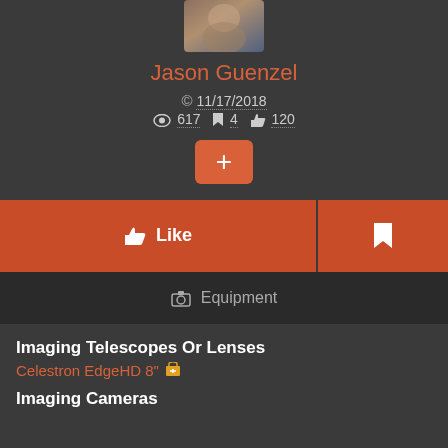[Figure (photo): Partial profile photo of Jason Guenzel, cropped at top]
Jason Guenzel
© 11/17/2018
👁 617  🔖 4  👍 120
[Figure (other): Orange + button (add/follow button)]
[Figure (other): Like and Bookmark action buttons bar]
Equipment
Imaging Telescopes Or Lenses
Celestron EdgeHD 8"
Imaging Cameras